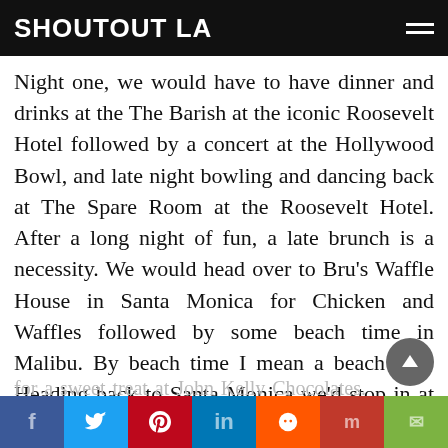SHOUTOUT LA
Night one, we would have to have dinner and drinks at the The Barish at the iconic Roosevelt Hotel followed by a concert at the Hollywood Bowl, and late night bowling and dancing back at The Spare Room at the Roosevelt Hotel. After a long night of fun, a late brunch is a necessity. We would head over to Bru's Waffle House in Santa Monica for Chicken and Waffles followed by some beach time in Malibu. By beach time I mean a beach nap! Heading back to Santa Monica we'd stop in at Father's Office on Montana for an early dinner and a sunset walk and shopping. We would absolutely have to stop
f  Twitter  P  in  Reddit  m  Email